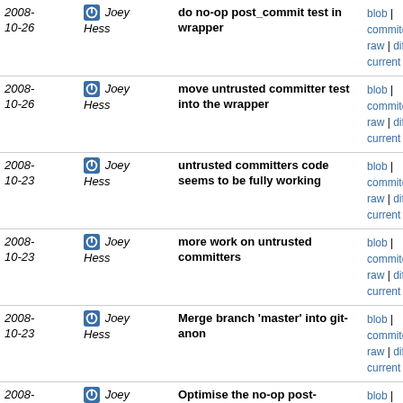| Date | Author | Message | Links |
| --- | --- | --- | --- |
| 2008-10-26 | Joey Hess | do no-op post_commit test in wrapper | blob | commitdiff | raw | diff to current |
| 2008-10-26 | Joey Hess | move untrusted committer test into the wrapper | blob | commitdiff | raw | diff to current |
| 2008-10-23 | Joey Hess | untrusted committers code seems to be fully working | blob | commitdiff | raw | diff to current |
| 2008-10-23 | Joey Hess | more work on untrusted committers | blob | commitdiff | raw | diff to current |
| 2008-10-23 | Joey Hess | Merge branch 'master' into git-anon | blob | commitdiff | raw | diff to current |
| 2008-10-23 | Joey Hess | Optimise the no-op post-commit hook in the web edit... | blob | commitdiff | raw | diff to current |
| 2008-10-23 | Joey Hess | Merge branch 'master' into git-anon | blob | commitdiff | raw | diff to current |
| 2008-10-23 | Joey Hess | initial support for git repos with untrusted committers | blob | commitdiff | raw | diff to current |
| 2008-10-01 | Joey Hess | Merge branch 'master' of ssh://git.ikiwiki.info/srv... | blob | commitdiff | raw | diff to current |
| 2008-10-01 | Joey Hess | typo | blob | commitdiff | raw | diff to current |
| 2008- | Joey | typo | blob | |